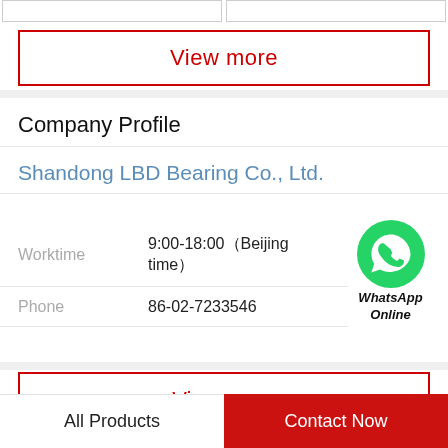View more
Company Profile
Shandong LBD Bearing Co., Ltd.
Worktime  9:00-18:00（Beijing time）
[Figure (logo): WhatsApp green phone icon with text 'WhatsApp Online']
Phone  86-02-7233546
View more
Related News
All Products
Contact Now